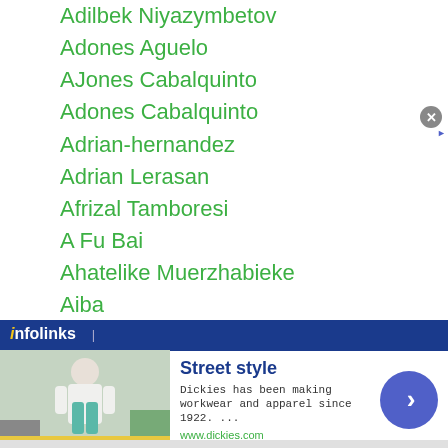Adilbek Niyazymbetov
Adones Aguelo
AJones Cabalquinto
Adones Cabalquinto
Adrian-hernandez
Adrian Lerasan
Afrizal Tamboresi
A Fu Bai
Ahatelike Muerzhabieke
Aiba
Aidar Sharibayev
Aida Satybaldinova
Aidos Yerbossynuly
Ainiwaer Yilixiati
Aira Midorikawa
Aito Takabatake
[Figure (screenshot): Infolinks advertisement bar with Dickies Street Style ad showing workwear and apparel promotion]
Street style
Dickies has been making workwear and apparel since 1922. ...
www.dickies.com